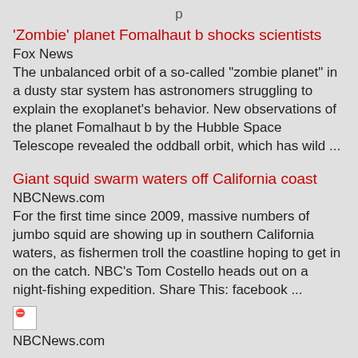p
'Zombie' planet Fomalhaut b shocks scientists
Fox News
The unbalanced orbit of a so-called "zombie planet" in a dusty star system has astronomers struggling to explain the exoplanet's behavior. New observations of the planet Fomalhaut b by the Hubble Space Telescope revealed the oddball orbit, which has wild ...
Giant squid swarm waters off California coast
NBCNews.com
For the first time since 2009, massive numbers of jumbo squid are showing up in southern California waters, as fishermen troll the coastline hoping to get in on the catch. NBC's Tom Costello heads out on a night-fishing expedition. Share This: facebook ...
[Figure (other): Broken image placeholder icon]
NBCNews.com
CES 2013: T-Mobile promotes their 'Uncarrier' status with no-contract unlimited ...
ZDNet...